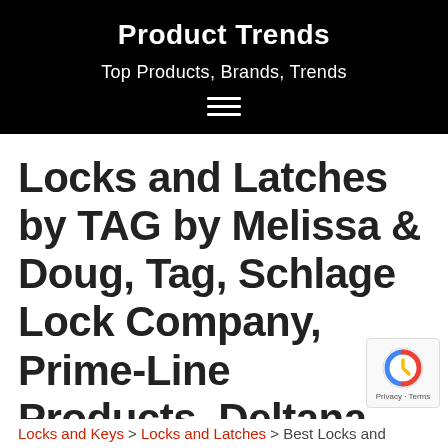Product Trends
Top Products, Brands, Trends
Locks and Latches by TAG by Melissa & Doug, Tag, Schlage Lock Company, Prime-Line Products, Deltana
Locks and Keys > Locks and Latches > Best Locks and